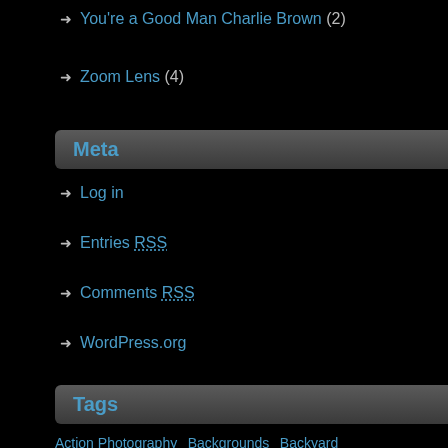You're a Good Man Charlie Brown (2)
Zoom Lens (4)
Meta
Log in
Entries RSS
Comments RSS
WordPress.org
Tags
Action Photography Backgrounds Backyard Baseball Basketball Bird Photography Blind Bull Chincoteague